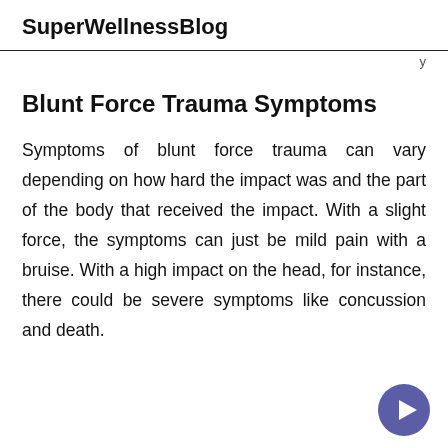SuperWellnessBlog
Blunt Force Trauma Symptoms
Symptoms of blunt force trauma can vary depending on how hard the impact was and the part of the body that received the impact. With a slight force, the symptoms can just be mild pain with a bruise. With a high impact on the head, for instance, there could be severe symptoms like concussion and death.